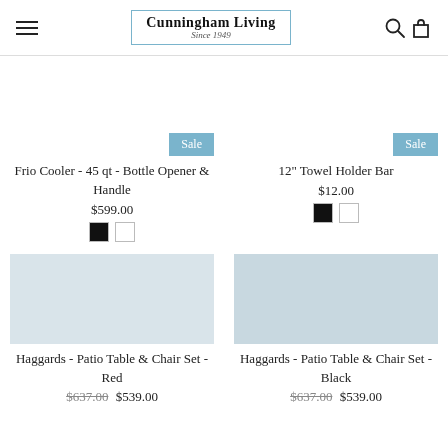Cunningham Living Since 1949
Frio Cooler - 45 qt - Bottle Opener & Handle
$599.00
12" Towel Holder Bar
$12.00
Haggards - Patio Table & Chair Set - Red
$637.00 $539.00
Haggards - Patio Table & Chair Set - Black
$637.00 $539.00